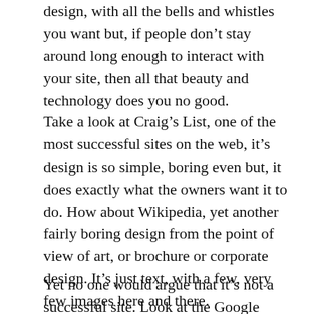design, with all the bells and whistles you want but, if people don't stay around long enough to interact with your site, then all that beauty and technology does you no good.
Take a look at Craig's List, one of the most successful sites on the web, it's design is so simple, boring even but, it does exactly what the owners want it to do. How about Wikipedia, yet another fairly boring design from the point of view of art, or brochure or corporate design. It's just text, with a few, very few images here and there.
Yet no one would argue that it's not a successful site. Look at the Google search page,